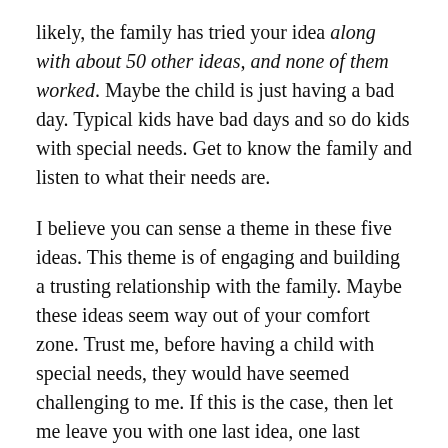likely, the family has tried your idea along with about 50 other ideas, and none of them worked. Maybe the child is just having a bad day. Typical kids have bad days and so do kids with special needs. Get to know the family and listen to what their needs are.
I believe you can sense a theme in these five ideas. This theme is of engaging and building a trusting relationship with the family. Maybe these ideas seem way out of your comfort zone. Trust me, before having a child with special needs, they would have seemed challenging to me. If this is the case, then let me leave you with one last idea, one last thought. Karis shared how the people sing with their son, but she also shared that it was wonderful to have them simply give him a handshake.
You could do that, couldn't you? Or at least an elbow